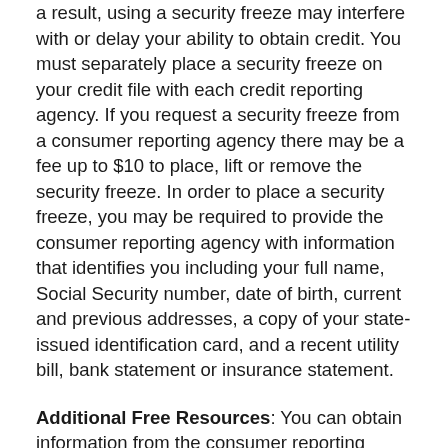a result, using a security freeze may interfere with or delay your ability to obtain credit. You must separately place a security freeze on your credit file with each credit reporting agency. If you request a security freeze from a consumer reporting agency there may be a fee up to $10 to place, lift or remove the security freeze. In order to place a security freeze, you may be required to provide the consumer reporting agency with information that identifies you including your full name, Social Security number, date of birth, current and previous addresses, a copy of your state-issued identification card, and a recent utility bill, bank statement or insurance statement.
Additional Free Resources: You can obtain information from the consumer reporting agencies, the FTC or from your respective state Attorney General about steps you can take toward preventing identity theft. You may report suspected identity theft to local law enforcement, including to the FTC or to the Attorney General in your state. Residents of Maryland, North Carolina, and Rhode Island can obtain more information from their Attorneys General using the contact information below.